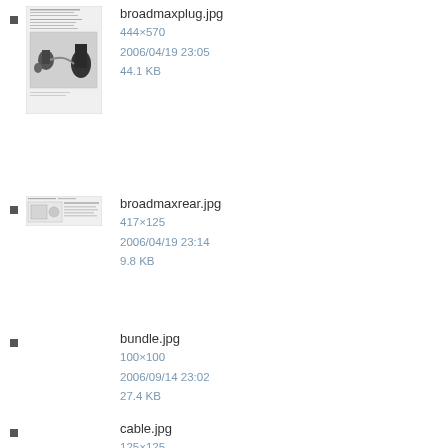[Figure (photo): Thumbnail image of broadmaxplug.jpg showing a document with photo of plugs/cables]
broadmaxplug.jpg
444×570
2006/04/19 23:05
44.1 KB
[Figure (schematic): Thumbnail image of broadmaxrear.jpg showing a rear panel diagram]
broadmaxrear.jpg
417×125
2006/04/19 23:14
9.8 KB
bundle.jpg
100×100
2006/09/14 23:02
27.4 KB
cable.jpg
125×125
2006/10/26 23:01